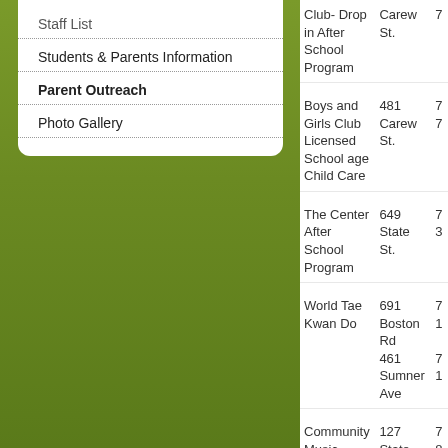Staff List
Students & Parents Information
Parent Outreach
Photo Gallery
| Organization | Address | Phone |
| --- | --- | --- |
| Club- Drop in After School Program | Carew St. | 7... |
| Boys and Girls Club Licensed School age Child Care | 481 Carew St. | 7... 7... |
| The Center After School Program | 649 State St. | 7... 3... |
| World Tae Kwan Do | 691 Boston Rd
461 Sumner Ave | 7... 1... 7... 1... |
| Community Music School | 127 State Street | 7... 8... |